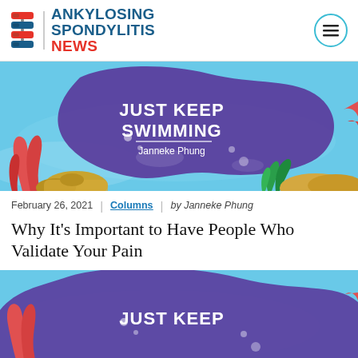ANKYLOSING SPONDYLITIS NEWS
[Figure (illustration): Underwater ocean scene illustration with purple fluid blob shape containing text 'JUST KEEP SWIMMING' by Janneke Phung, with coral, seaweed, and sandy bottom elements on a light blue background]
February 26, 2021 | Columns | by Janneke Phung
Why It's Important to Have People Who Validate Your Pain
[Figure (illustration): Partial underwater ocean scene illustration with purple fluid blob shape and text 'JUST KEEP' visible, similar to the banner above, cropped at bottom of page]